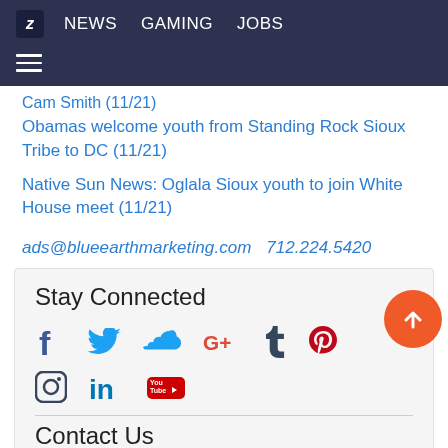Z NEWS GAMING JOBS
Obamas welcome youth from Standing Rock Sioux Tribe to DC (11/21)
Native Sun News: Oglala Sioux youth to join White House meet (11/21)
ads@blueearthmarketing.com  712.224.5420
Stay Connected
[Figure (infographic): Social media icons: Facebook, Twitter, Soundcloud, Google+, Tumblr, Pinterest, Instagram, LinkedIn, YouTube]
Contact Us